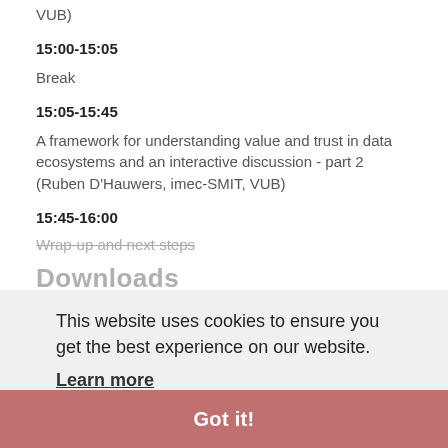VUB)
15:00-15:05
Break
15:05-15:45
A framework for understanding value and trust in data ecosystems and an interactive discussion - part 2 (Ruben D'Hauwers, imec-SMIT, VUB)
15:45-16:00
Wrap-up and next steps
Downloads
No downloads available for this event.
This website uses cookies to ensure you get the best experience on our website.
Learn more
Got it!